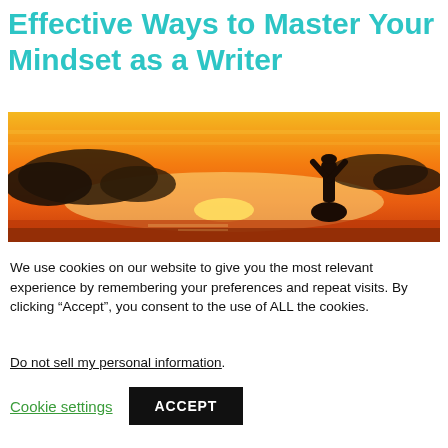Effective Ways to Master Your Mindset as a Writer
[Figure (photo): Silhouette of a person doing yoga with arms raised overhead against a dramatic orange and yellow sunset sky with clouds]
We use cookies on our website to give you the most relevant experience by remembering your preferences and repeat visits. By clicking “Accept”, you consent to the use of ALL the cookies.
Do not sell my personal information.
Cookie settings
ACCEPT